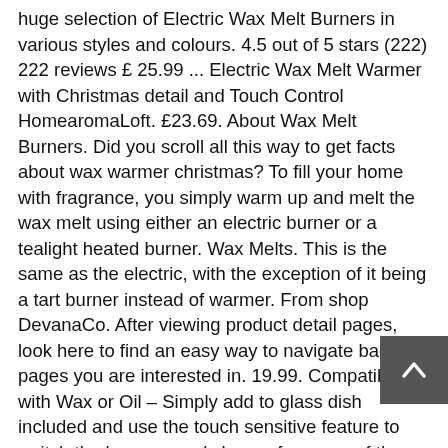huge selection of Electric Wax Melt Burners in various styles and colours. 4.5 out of 5 stars (222) 222 reviews £ 25.99 ... Electric Wax Melt Warmer with Christmas detail and Touch Control HomearomaLoft. £23.69. About Wax Melt Burners. Did you scroll all this way to get facts about wax warmer christmas? To fill your home with fragrance, you simply warm up and melt the wax melt using either an electric burner or a tealight heated burner. Wax Melts. This is the same as the electric, with the exception of it being a tart burner instead of warmer. From shop DevanaCo. After viewing product detail pages, look here to find an easy way to navigate back to pages you are interested in. 19.99. Compatible with Wax or Oil – Simply add to glass dish included and use the touch sensitive feature to switch the lamp on and choose from one of the three light/heat settings. holiday fragrances to welcome the season to your home. Aroma Electric Wax Melt Burner 3D Firework Lamp Night Light Wax Warmer UK Plug 3.5 out of 5 stars (4) 4 product ratings - Aroma Electric Wax Melt Burner 3D Firework Lamp Night Light Wax Warmer UK Plug 99 $39.99 $39.99. $26.99 $ 26. Grid List. Our last despatch date for attempted pre-Christmas delivery is Friday 18 th December.